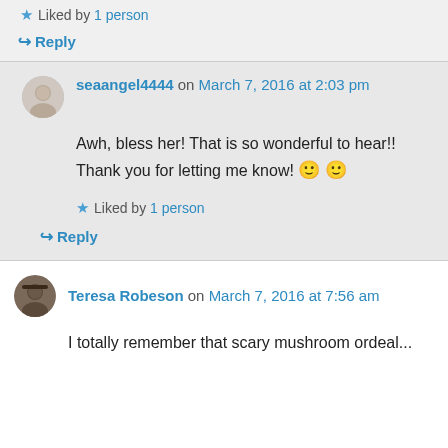★ Liked by 1 person
↪ Reply
seaangel4444 on March 7, 2016 at 2:03 pm
Awh, bless her! That is so wonderful to hear!! Thank you for letting me know! 🙂 🙂
★ Liked by 1 person
↪ Reply
Teresa Robeson on March 7, 2016 at 7:56 am
I totally remember that scary mushroom ordeal...